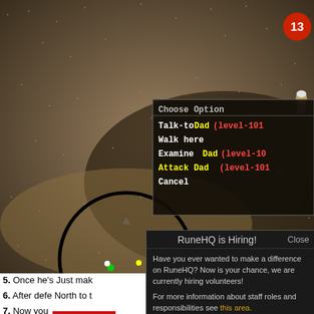[Figure (screenshot): RuneScape game screenshot showing a desert/cave area with a context menu 'Choose Option' visible in the upper right, with options: Talk-to Dad (level-101), Walk here, Examine Dad (level-10), Attack Dad (level-101), Cancel. A damage indicator showing '13' in top right. A circle overlay on the ground area.]
5. Once he's... Just mak...
6. After defe... North to t...
7. Now you...
[Figure (screenshot): RuneHQ is Hiring! modal popup dialog over a game guide page. Contains text: 'Have you ever wanted to make a difference on RuneHQ? Now is your chance, we are currently hiring volunteers! For more information about staff roles and responsibilities see this area. Once you are ready (and signed into the forums), you can find open applications on the navigation bar at the top of the forums.' Close button top right.]